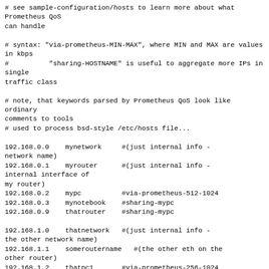# see sample-configuration/hosts to learn more about what Prometheus QoS
can handle

# syntax: "via-prometheus-MIN-MAX", where MIN and MAX are values in kbps
#          "sharing-HOSTNAME" is useful to aggregate more IPs in single
traffic class

# note, that keywords parsed by Prometheus QoS look like ordinary
comments to tools
# used to process bsd-style /etc/hosts file...

192.168.0.0    mynetwork     #(just internal info - network name)
192.168.0.1    myrouter      #(just internal info - internal interface of
my router)
192.168.0.2    mypc          #via-prometheus-512-1024
192.168.0.3    mynotebook    #sharing-mypc
192.168.0.9    thatrouter    #sharing-mypc

192.168.1.0    thatnetwork   #(just internal info - the other network name)
192.168.1.1    someroutername   #(the other eth on the other router)
192.168.1.2    thatpc1       #via-prometheus-256-1024
192.168.1.3    thatpc2       #sharing-thatpc1
192.168.1.4    thatpc3       #via-prometheus-128-256